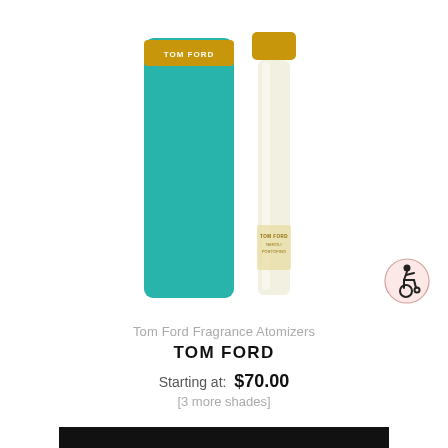[Figure (photo): Two Tom Ford fragrance atomizers — a teal/turquoise cylindrical bottle with a gold band and TOM FORD label, and a smaller clear glass roller-ball bottle with gold cap and TOM FORD NEROLI PORTOFINO label, shown against a white background.]
Tom Ford Fragrance Atomizers
TOM FORD
Starting at:  $70.00
[3 more shades]
ADD TO BAG